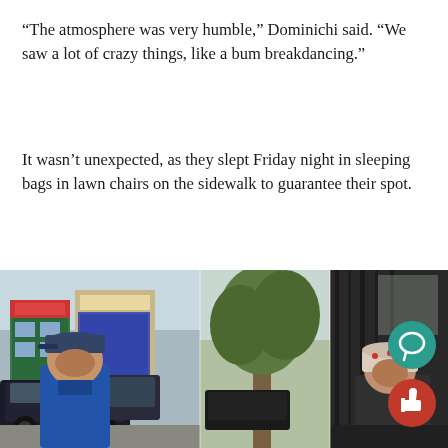“The atmosphere was very humble,” Dominichi said. “We saw a lot of crazy things, like a bum breakdancing.”
It wasn’t unexpected, as they slept Friday night in sleeping bags in lawn chairs on the sidewalk to guarantee their spot.
Dominichi and Sanchez were there for both the “rare pieces” of clothing and the tickets, while Adrien Elias, a 17-year-old from Oakland, was there mostly to meet the artists.
[Figure (photo): Street scene photograph showing two young men sitting at what appears to be a sidewalk location. The left person wears a blue cap and blue jacket; the right person wears a patterned bucket hat. Behind them are parked cars, storefronts, and a tree. Two circular UI buttons (teal chat bubble and red thumbs-up) overlay the right side of the image.]